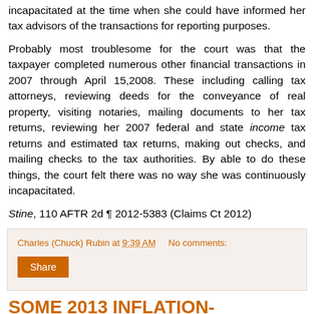incapacitated at the time when she could have informed her tax advisors of the transactions for reporting purposes.
Probably most troublesome for the court was that the taxpayer completed numerous other financial transactions in 2007 through April 15,2008. These including calling tax attorneys, reviewing deeds for the conveyance of real property, visiting notaries, mailing documents to her tax returns, reviewing her 2007 federal and state income tax returns and estimated tax returns, making out checks, and mailing checks to the tax authorities. By able to do these things, the court felt there was no way she was continuously incapacitated.
Stine, 110 AFTR 2d ¶ 2012-5383 (Claims Ct 2012)
Charles (Chuck) Rubin at 9:39 AM    No comments:
Share
SOME 2013 INFLATION-ADJUSTED